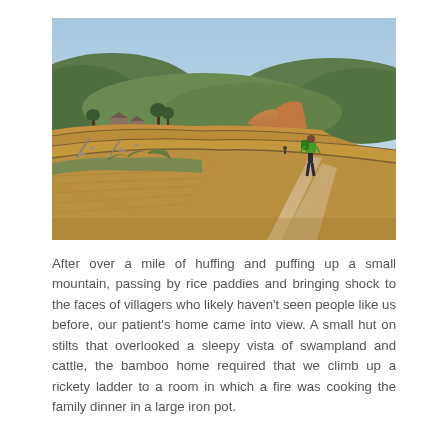[Figure (photo): A hiker with a green backpack walks along a dirt path through terraced rice paddies toward rolling forested hills under a clear blue sky. Rural buildings are visible in the middle distance on the left.]
After over a mile of huffing and puffing up a small mountain, passing by rice paddies and bringing shock to the faces of villagers who likely haven't seen people like us before, our patient's home came into view. A small hut on stilts that overlooked a sleepy vista of swampland and cattle, the bamboo home required that we climb up a rickety ladder to a room in which a fire was cooking the family dinner in a large iron pot.